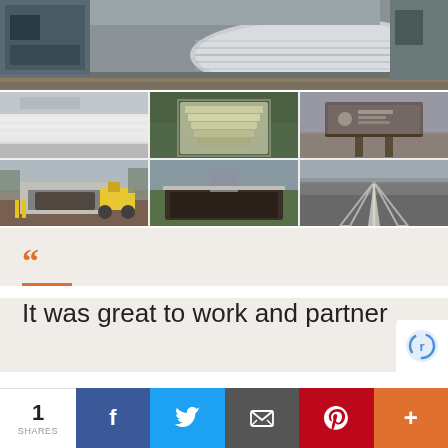[Figure (photo): Large horizontal photo showing corrugated metal pipe/culvert installation at a construction site, with dirt excavation and equipment visible]
[Figure (photo): Grid of 6 smaller construction site photos: top-left shows white geotextile fabric, top-center shows tiered/stepped filter structure, top-right shows a project signboard, bottom-left shows a concrete box culvert with construction equipment, bottom-center shows a bioretention cell with dark soil, bottom-right shows a gravel road with white lane dividers]
““
It was great to work and partner